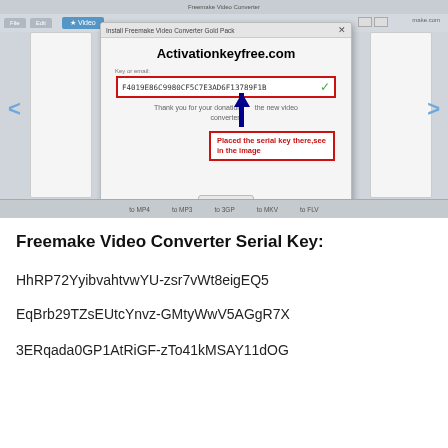[Figure (screenshot): Screenshot of Freemake Video Converter with an activation dialog box open. The dialog shows 'Activationkeyfree.com' as heading, a key input field containing 'F4019E86C9980CF5C7E3AD6F13789F1B' with a green checkmark, thank you text, and a blue arrow annotation pointing to the field with a red callout box saying 'Placed the serial key there,see in the image'. An OK button is at the bottom.]
Freemake Video Converter Serial Key:
HhRP72YyibvahtvwYU-zsr7vWt8eigEQ5
EqBrb29TZsEUtcYnvz-GMtyWwV5AGgR7X
3ERqada0GP1AtRiGF-zTo41kMSAY11dOG